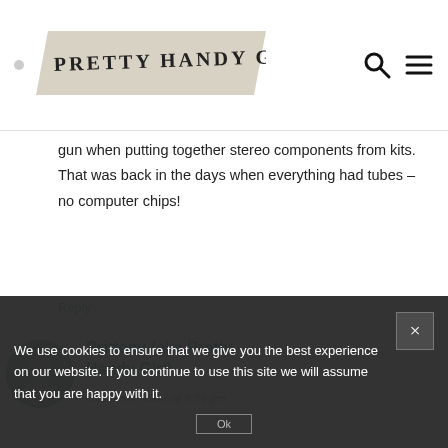PRETTY HANDY GIRL
gun when putting together stereo components from kits. That was back in the days when everything had tubes – no computer chips!
Reply
[Figure (photo): Circular avatar photo of Brittany (aka Pretty Handy Girl)]
Brittany (aka Pretty Handy Girl)
October 2, 2012 at 9:29 pm
Well, I beg to differ! You look usual to me 🙂
We use cookies to ensure that we give you the best experience on our website. If you continue to use this site we will assume that you are happy with it.